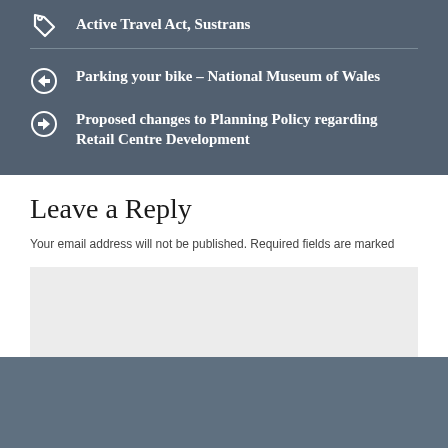Active Travel Act, Sustrans
Parking your bike – National Museum of Wales
Proposed changes to Planning Policy regarding Retail Centre Development
Leave a Reply
Your email address will not be published. Required fields are marked